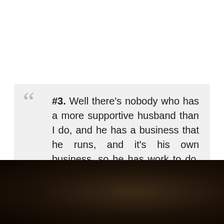#3. Well there's nobody who has a more supportive husband than I do, and he has a business that he runs, and it's his own business, so he has work to do, my kids have school to do, I mean, people have - there are other things in life besides politics. - Author: Caroline Kennedy
[Figure (photo): Dark photograph strip at the bottom of the page, showing a dark brown/black blurred image]